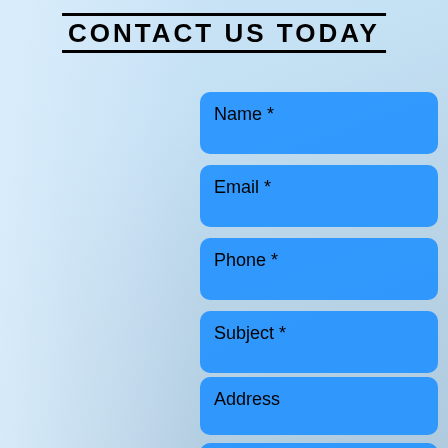CONTACT US TODAY
Name *
Email *
Phone *
Subject *
Address
Message *